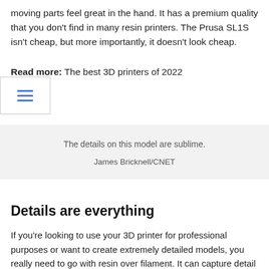moving parts feel great in the hand. It has a premium quality that you don't find in many resin printers. The Prusa SL1S isn't cheap, but more importantly, it doesn't look cheap.
Read more: The best 3D printers of 2022
The details on this model are sublime.

James Bricknell/CNET
Details are everything
If you're looking to use your 3D printer for professional purposes or want to create extremely detailed models, you really need to go with resin over filament. It can capture detail like no other, and the Prusa SL1S delivers unreservedly on that front. As you can see on this Dark Dryad from Fotis Mint, every crack in the bark skin is brilliantly captured and the detail makes it look like it's alive.